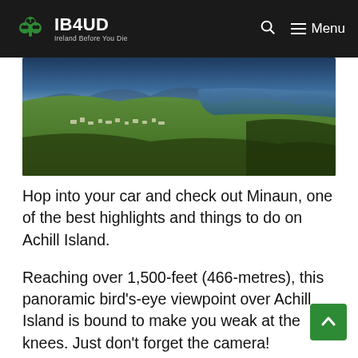IB4UD — Ireland Before You Die
[Figure (photo): Aerial/panoramic landscape photo of Achill Island, Ireland, showing green hillside, coastal village, and blue water/bay in background under a blue sky.]
Hop into your car and check out Minaun, one of the best highlights and things to do on Achill Island.
Reaching over 1,500-feet (466-metres), this panoramic bird's-eye viewpoint over Achill Island is bound to make you weak at the knees. Just don't forget the camera!